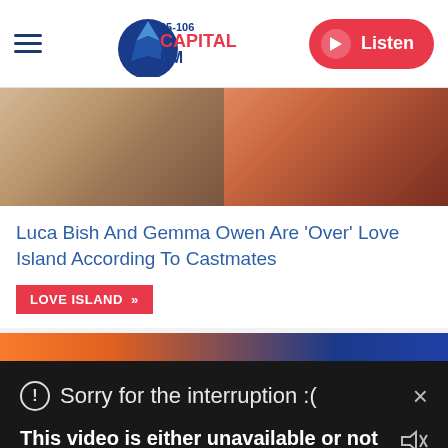95-106 Capital FM | Listen
[Figure (screenshot): Two cropped photos side by side: left shows a person in a beige/tan jacket, right shows a person in orange/red top with dark hair]
Luca Bish And Gemma Owen Are 'Over' Love Island According To Castmates
LOVE ISLAND »
[Figure (screenshot): Partial colorful strip at top of a second article card]
Sorry for the interruption :(
This video is either unavailable or not supported in this browser. Please refresh your browser.
Error Code: MEDIA ERR SRC NOT SUPPORTED
Dani Dyer's